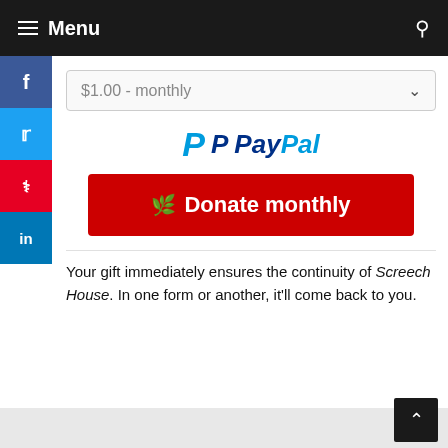Menu
[Figure (screenshot): Dropdown selector showing '$1.00 - monthly']
[Figure (logo): PayPal logo]
[Figure (infographic): Red donate button with leaf icon: Donate monthly]
Your gift immediately ensures the continuity of Screech House. In one form or another, it'll come back to you.